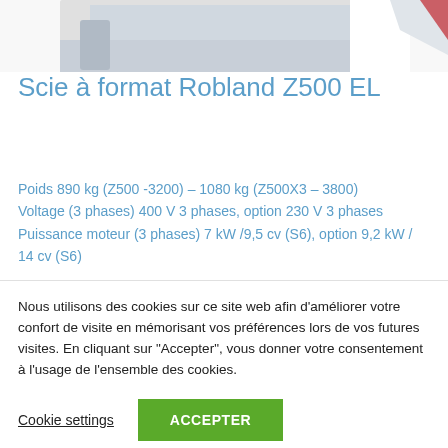[Figure (photo): Partial product image of Robland Z500 EL panel saw, cropped at top showing upper portion of machine]
Scie à format Robland Z500 EL
Poids 890 kg (Z500 -3200) – 1080 kg (Z500X3 – 3800)
Voltage (3 phases) 400 V 3 phases, option 230 V 3 phases
Puissance moteur (3 phases) 7 kW /9,5 cv (S6), option 9,2 kW / 14 cv (S6)
Nous utilisons des cookies sur ce site web afin d'améliorer votre confort de visite en mémorisant vos préférences lors de vos futures visites. En cliquant sur "Accepter", vous donner votre consentement à l'usage de l'ensemble des cookies.
Cookie settings
ACCEPTER